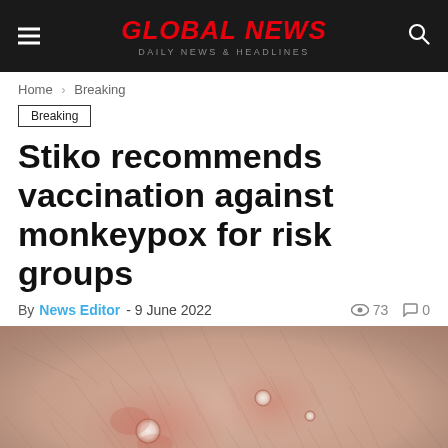GLOBAL NEWS — DAILY NEWS & HEADLINES
Home > Breaking
Breaking
Stiko recommends vaccination against monkeypox for risk groups
By News Editor - 9 June 2022  73  0
[Figure (photo): Close-up photo of skin showing monkeypox lesions — reddish inflamed patches with white pustule centers on light skin with body hair]